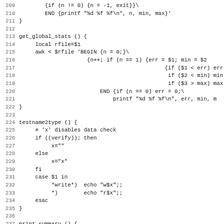Source code listing, lines 209-241, shell script functions: get_global_stats, testname2type, print_summary
209     {if (n != 0) {n = -1; exit}}\
210         END {printf "%d %f %f\n", n, min, max}'
211 }
212
213 get_global_stats () {
214     local rfile=$1
215     awk < $rfile 'BEGIN {n = 0;}\
216                     {n++; if (n == 1) {err = $1; min = $2
217                                             {if ($1 < err) err
218                                              if ($2 < min) min
219                                              if ($3 > max) max
220                         END {if (n == 0) err = 0;\
221                             printf "%d %f %f\n", err, min, m
222 }
223
224 testname2type () {
225     # 'x' disables data check
226     if ((verify)); then
227         x=""
228     else
229         x="x"
230     fi
231     case $1 in
232         *write*)  echo "w$x";;
233         *)        echo "r$x";;
234     esac
235 }
236
237 print_summary () {
238     if [ "$1" = "-n" ]; then
239         minusn=$1; shift
240     else
241         minusn=""